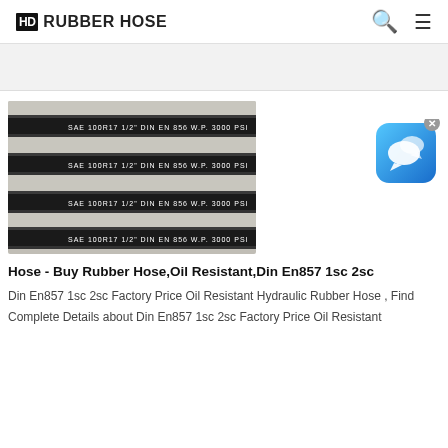HD RUBBER HOSE
[Figure (photo): Close-up photograph of multiple black rubber hoses labeled SAE 100R17 1/2" DIN EN 856 W.P. 3000 PSI]
[Figure (other): Blue chat widget icon with speech bubbles, with an X close button]
Hose - Buy Rubber Hose,Oil Resistant,Din En857 1sc 2sc
Din En857 1sc 2sc Factory Price Oil Resistant Hydraulic Rubber Hose , Find Complete Details about Din En857 1sc 2sc Factory Price Oil Resistant